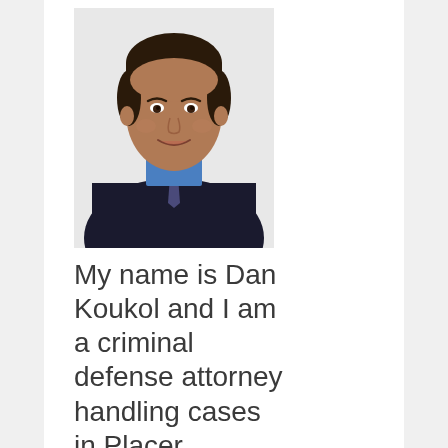[Figure (photo): Professional headshot of a middle-aged man with dark hair, wearing a dark suit jacket, blue dress shirt, and patterned tie, smiling against a white background.]
My name is Dan Koukol and I am a criminal defense attorney handling cases in Placer County.